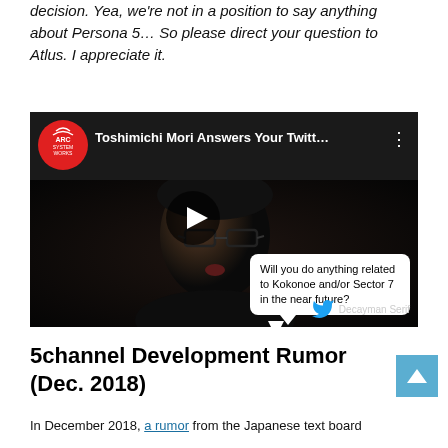decision. Yea, we're not in a position to say anything about Persona 5… So please direct your question to Atlus. I appreciate it.
[Figure (screenshot): YouTube video thumbnail showing 'Toshimichi Mori Answers Your Twitt...' with Arc System Works logo, a man with glasses speaking, a play button, and a Twitter question bubble reading 'Will you do anything related to Kokonoe and/or Sector 7 in the near future?' attributed to Decayman Serif]
5channel Development Rumor (Dec. 2018)
In December 2018, a rumor from the Japanese text board